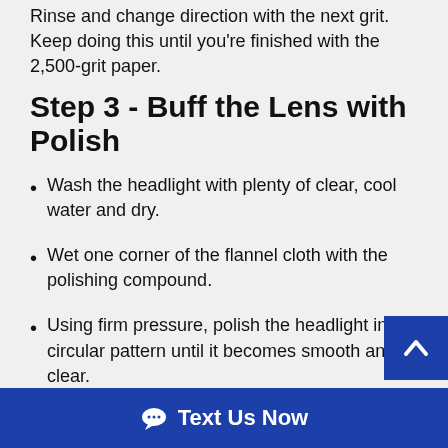Rinse and change direction with the next grit. Keep doing this until you're finished with the 2,500-grit paper.
Step 3 - Buff the Lens with Polish
Wash the headlight with plenty of clear, cool water and dry.
Wet one corner of the flannel cloth with the polishing compound.
Using firm pressure, polish the headlight in a circular pattern until it becomes smooth and clear.
Step 4 - Polish the Lens
Allow the polish to dry, then use the clean end of the cloth to buff off any polish residue.